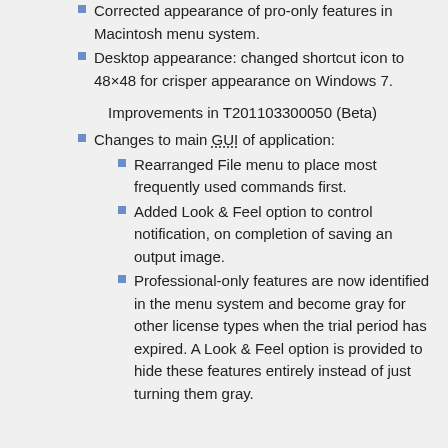Corrected appearance of pro-only features in Macintosh menu system.
Desktop appearance: changed shortcut icon to 48×48 for crisper appearance on Windows 7.
Improvements in T201103300050 (Beta)
Changes to main GUI of application:
Rearranged File menu to place most frequently used commands first.
Added Look & Feel option to control notification, on completion of saving an output image.
Professional-only features are now identified in the menu system and become gray for other license types when the trial period has expired. A Look & Feel option is provided to hide these features entirely instead of just turning them gray.